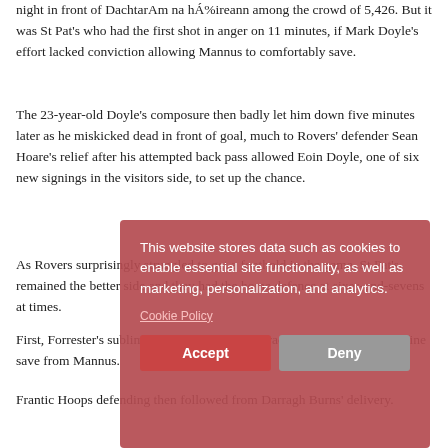night in front of Dachtar̈n na hÁ‰ireann among the crowd of 5,426. But it was St Pat's who had the first shot in anger on 11 minutes, if Mark Doyle's effort lacked conviction allowing Mannus to comfortably save.
The 23-year-old Doyle's composure then badly let him down five minutes later as he miskicked dead in front of goal, much to Rovers' defender Sean Hoare's relief after his attempted back pass allowed Eoin Doyle, one of six new signings in the visitors side, to set up the chance.
As Rovers surprisingly struggled to get a foothold in the game, St Pat's remained the better side and they had the home defence at sixes-and-sevens at times.
First, Forrester's sublime ball sent Eoin Doyle racing through to bring a fine save from Mannus.
Frantic Hoops defending then followed from Darragh Burns' delivery.
[Figure (screenshot): Cookie consent overlay dialog with dark red/rose background. Text reads: 'This website stores data such as cookies to enable essential site functionality, as well as marketing, personalization, and analytics.' Below is a 'Cookie Policy' link, and two buttons: 'Accept' (dark red) and 'Deny' (grey).]